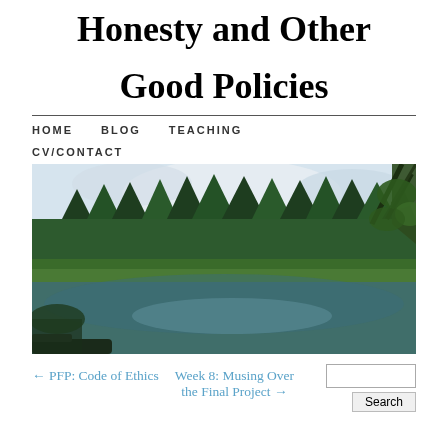Honesty and Other Good Policies
HOME
BLOG
TEACHING
CV/CONTACT
[Figure (photo): Landscape photo of a calm lake reflecting evergreen forest trees and cloudy sky, with leafy branches visible at the right edge.]
← PFP: Code of Ethics
Week 8: Musing Over the Final Project →